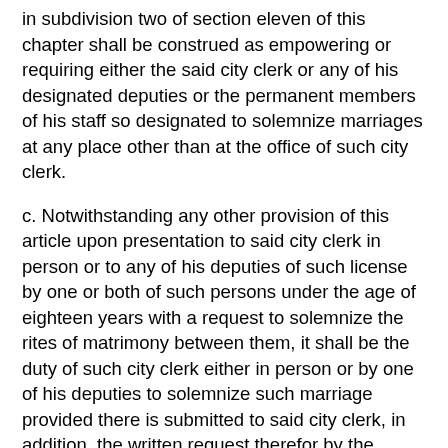in subdivision two of section eleven of this chapter shall be construed as empowering or requiring either the said city clerk or any of his designated deputies or the permanent members of his staff so designated to solemnize marriages at any place other than at the office of such city clerk.
c. Notwithstanding any other provision of this article upon presentation to said city clerk in person or to any of his deputies of such license by one or both of such persons under the age of eighteen years with a request to solemnize the rites of matrimony between them, it shall be the duty of such city clerk either in person or by one of his deputies to solemnize such marriage provided there is submitted to said city clerk, in addition, the written request therefor by the parents of any such persons under the age of eighteen years